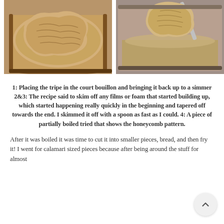[Figure (photo): Two side-by-side photos of tripe being cooked in a court bouillon in a pot on a stove. Left photo shows a large piece of tripe submerged in simmering liquid. Right photo shows a piece of tripe being lifted with a spoon or ladle from the pot.]
1: Placing the tripe in the court bouillon and bringing it back up to a simmer 2&3: The recipe said to skim off any films or foam that started building up, which started happening really quickly in the beginning and tapered off towards the end. I skimmed it off with a spoon as fast as I could. 4: A piece of partially boiled tried that shows the honeycomb pattern.
After it was boiled it was time to cut it into smaller pieces, bread, and then fry it! I went for calamari sized pieces because after being around the stuff for almost